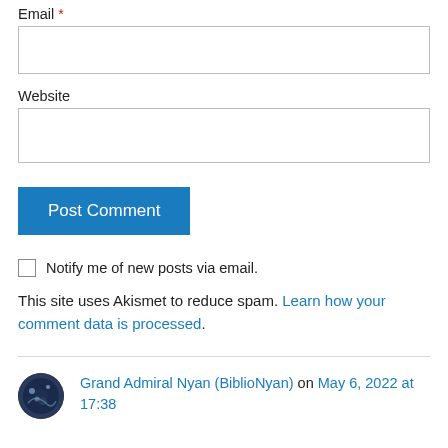Email *
Website
Post Comment
Notify me of new posts via email.
This site uses Akismet to reduce spam. Learn how your comment data is processed.
Grand Admiral Nyan (BiblioNyan) on May 6, 2022 at 17:38